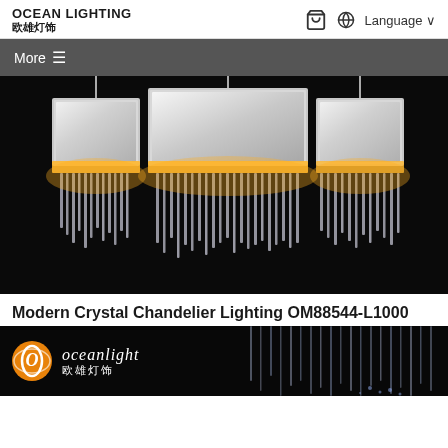OCEAN LIGHTING 欧雄灯饰
[Figure (screenshot): Website navigation bar with 'More ≡' menu button on dark grey background]
[Figure (photo): Crystal chandelier lighting product photo against black background, showing rectangular chrome fixture with cascading crystal prisms lit with warm amber glow]
Modern Crystal Chandelier Lighting OM88544-L1000
[Figure (logo): Ocean Light brand logo with orange circular emblem and 'oceanlight 欧雄灯饰' text, with crystal chandelier product visible on the right side against black background]